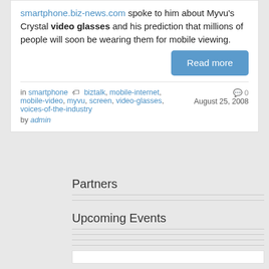smartphone.biz-news.com spoke to him about Myvu's Crystal video glasses and his prediction that millions of people will soon be wearing them for mobile viewing.
Read more
in smartphone  biztalk, mobile-internet, mobile-video, myvu, screen, video-glasses, voices-of-the-industry  0  August 25, 2008  by admin
Partners
Upcoming Events